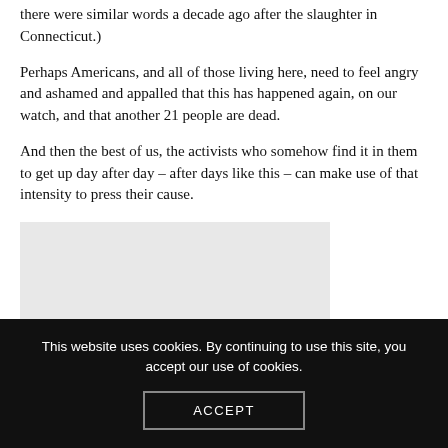there were similar words a decade ago after the slaughter in Connecticut.)
Perhaps Americans, and all of those living here, need to feel angry and ashamed and appalled that this has happened again, on our watch, and that another 21 people are dead.
And then the best of us, the activists who somehow find it in them to get up day after day – after days like this – can make use of that intensity to press their cause.
[Figure (other): Grey placeholder box, likely an advertisement or image placeholder]
This website uses cookies. By continuing to use this site, you accept our use of cookies.
ACCEPT